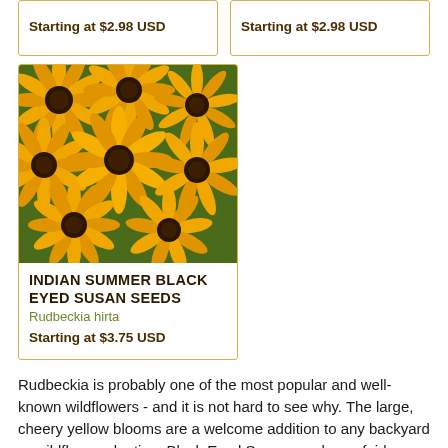Starting at $2.98 USD
Starting at $2.98 USD
[Figure (photo): Photo of Black Eyed Susan (Rudbeckia hirta) flowers in bloom — large yellow petals with dark brown centers, dense cluster of flowers with green foliage in background.]
INDIAN SUMMER BLACK EYED SUSAN SEEDS
Rudbeckia hirta
Starting at $3.75 USD
Rudbeckia is probably one of the most popular and well-known wildflowers - and it is not hard to see why. The large, cheery yellow blooms are a welcome addition to any backyard or wildflower planting. Black Eyed Susan seeds are fairly easy to germinate and